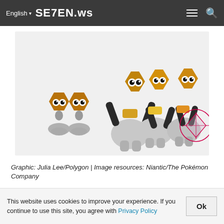English ▾  SE7EN.ws
[Figure (photo): Pokemon Go figures showing Meltan and Melmetal toys. On the left are two small bolt-head Meltan figures. On the right are three larger Melmetal figures with black arms. The rightmost Melmetal has a pink circled crosshair overlay on it.]
Graphic: Julia Lee/Polygon | Image resources: Niantic/The Pokémon Company
Wimpod is likewise making its Pokémon Go launching, as well as it calls for a monstrous 400 sweet to advance, so ensure to Pinap Berry any type of you see.
This website uses cookies to improve your experience. If you continue to use this site, you agree with Privacy Policy  Ok